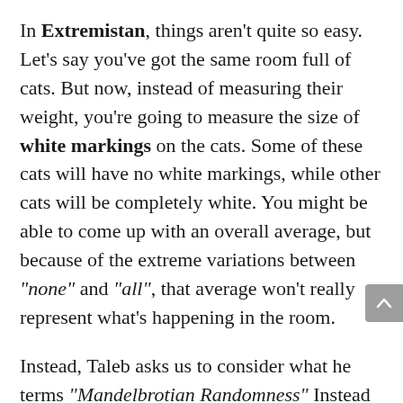In Extremistan, things aren't quite so easy. Let's say you've got the same room full of cats. But now, instead of measuring their weight, you're going to measure the size of white markings on the cats. Some of these cats will have no white markings, while other cats will be completely white. You might be able to come up with an overall average, but because of the extreme variations between "none" and "all", that average won't really represent what's happening in the room.
Instead, Taleb asks us to consider what he terms "Mandelbrotian Randomness" Instead of resting on the theory that all options are evenly distributed, consider that all deviations from the norm are